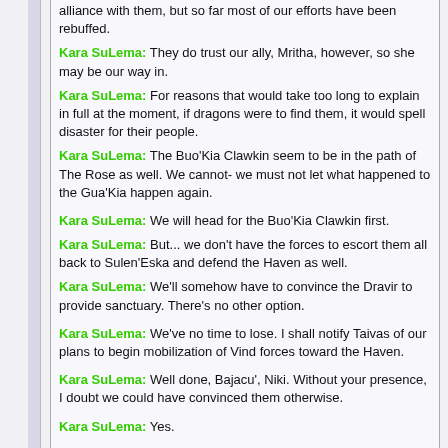alliance with them, but so far most of our efforts have been rebuffed.
Kara SuLema: They do trust our ally, Mritha, however, so she may be our way in.
Kara SuLema: For reasons that would take too long to explain in full at the moment, if dragons were to find them, it would spell disaster for their people.
Kara SuLema: The Buo'Kia Clawkin seem to be in the path of The Rose as well. We cannot- we must not let what happened to the Gua'Kia happen again.
Kara SuLema: We will head for the Buo'Kia Clawkin first.
Kara SuLema: But... we don't have the forces to escort them all back to Sulen'Eska and defend the Haven as well.
Kara SuLema: We'll somehow have to convince the Dravir to provide sanctuary. There's no other option.
Kara SuLema: We've no time to lose. I shall notify Taivas of our plans to begin mobilization of Vind forces toward the Haven.
Kara SuLema: Well done, Bajacu', Niki. Without your presence, I doubt we could have convinced them otherwise.
Kara SuLema: Yes.
Niki, go on ahead, we will catch up to you when the Buo'Kia are ready to go.
Kara SuLema: Here we are. Niki should be waiting for us just inside.
Kara SuLema: Observe.
Kara SuLema: Well, come on, all of you. Hurry on